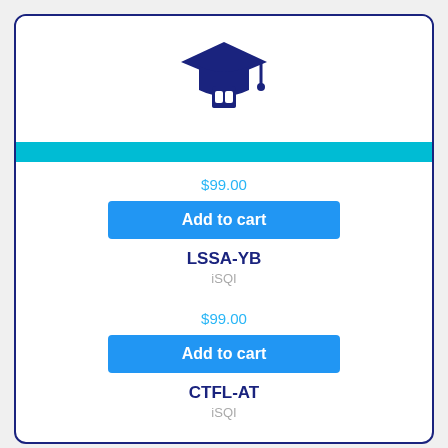[Figure (logo): Graduation cap with helmet icon in dark navy blue]
$99.00
Add to cart
LSSA-YB
iSQI
$99.00
Add to cart
CTFL-AT
iSQI
$39.00